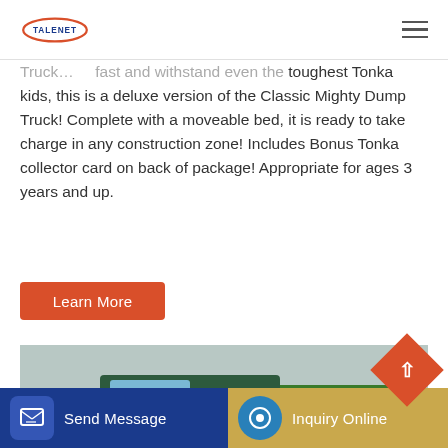TALENET
Truck... fast and withstand even the toughest Tonka kids, this is a deluxe version of the Classic Mighty Dump Truck! Complete with a moveable bed, it is ready to take charge in any construction zone! Includes Bonus Tonka collector card on back of package! Appropriate for ages 3 years and up.
Learn More
[Figure (photo): Photo of a truck at a loading or industrial facility, viewed from the front-left angle.]
Send Message
Inquiry Online